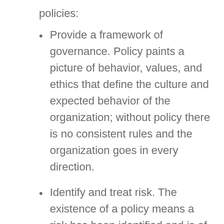policies:
Provide a framework of governance. Policy paints a picture of behavior, values, and ethics that define the culture and expected behavior of the organization; without policy there is no consistent rules and the organization goes in every direction.
Identify and treat risk. The existence of a policy means a risk has been identified and is of enough significance to have a formal policy written which details controls to manage the risk.